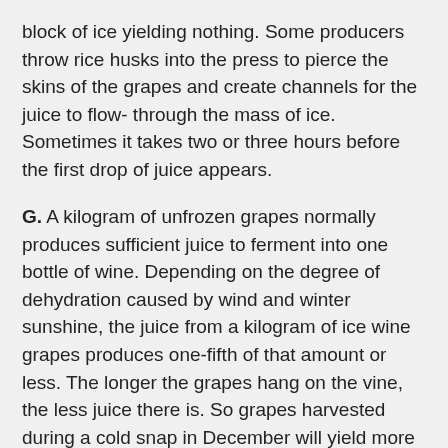block of ice yielding nothing. Some producers throw rice husks into the press to pierce the skins of the grapes and create channels for the juice to flow- through the mass of ice. Sometimes it takes two or three hours before the first drop of juice appears.
G. A kilogram of unfrozen grapes normally produces sufficient juice to ferment into one bottle of wine. Depending on the degree of dehydration caused by wind and winter sunshine, the juice from a kilogram of ice wine grapes produces one-fifth of that amount or less. The longer the grapes hang on the vine, the less juice there is. So grapes harvested during a cold snap in December will yield more ice wine than if they are picked in February. The oily juice, once extracted from the marble-hard berries, is allowed to settle for three or four days. It is then clarified of dust and debris by ‘racking’ from one tank to another. A special yeast is added to activate fermentation in the stainless steel tanks since the colourless liquid is too cold to ferment on its own. Because of